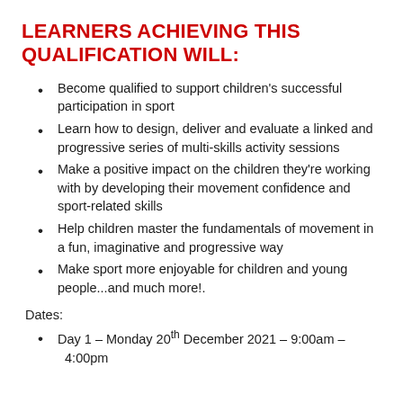LEARNERS ACHIEVING THIS QUALIFICATION WILL:
Become qualified to support children's successful participation in sport
Learn how to design, deliver and evaluate a linked and progressive series of multi-skills activity sessions
Make a positive impact on the children they're working with by developing their movement confidence and sport-related skills
Help children master the fundamentals of movement in a fun, imaginative and progressive way
Make sport more enjoyable for children and young people...and much more!.
Dates:
Day 1 – Monday 20th December 2021 – 9:00am – 4:00pm